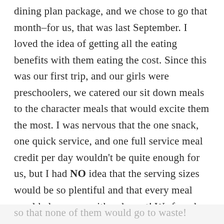dining plan package, and we chose to go that month–for us, that was last September. I loved the idea of getting all the eating benefits with them eating the cost. Since this was our first trip, and our girls were preschoolers, we catered our sit down meals to the character meals that would excite them the most. I was nervous that the one snack, one quick service, and one full service meal credit per day wouldn't be quite enough for us, but I had NO idea that the serving sizes would be so plentiful and that every meal would also come with a dessert! We found ourselves trying to use up all of our remaining snack credits on the last day
so that none of them would go to waste!